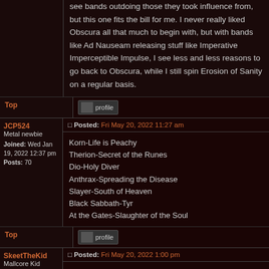see bands outdoing those they took influence from, but this one fits the bill for me. I never really liked Obscura all that much to begin with, but with bands like Ad Nauseam releasing stuff like Imperative Imperceptible Impulse, I see less and less reasons to go back to Obscura, while I still spin Erosion of Sanity on a regular basis.
Top
profile
JCP524
Metal newbie
Joined: Wed Jan 19, 2022 12:37 pm
Posts: 70
Posted: Fri May 20, 2022 11:27 am
Korn-Life is Peachy
Therion-Secret of the Runes
Dio-Holy Diver
Anthrax-Spreading the Disease
Slayer-South of Heaven
Black Sabbath-Tyr
At the Gates-Slaughter of the Soul
Top
profile
SkeetTheKid
Mallcore Kid
Joined: Fri May 20, 2022
Posted: Fri May 20, 2022 1:00 pm
Municipal Waste - Waste 'em All